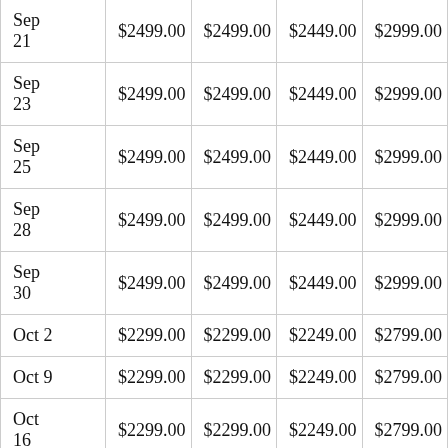| Sep 21 | $2499.00 | $2499.00 | $2449.00 | $2999.00 |
| Sep 23 | $2499.00 | $2499.00 | $2449.00 | $2999.00 |
| Sep 25 | $2499.00 | $2499.00 | $2449.00 | $2999.00 |
| Sep 28 | $2499.00 | $2499.00 | $2449.00 | $2999.00 |
| Sep 30 | $2499.00 | $2499.00 | $2449.00 | $2999.00 |
| Oct 2 | $2299.00 | $2299.00 | $2249.00 | $2799.00 |
| Oct 9 | $2299.00 | $2299.00 | $2249.00 | $2799.00 |
| Oct 16 | $2299.00 | $2299.00 | $2249.00 | $2799.00 |